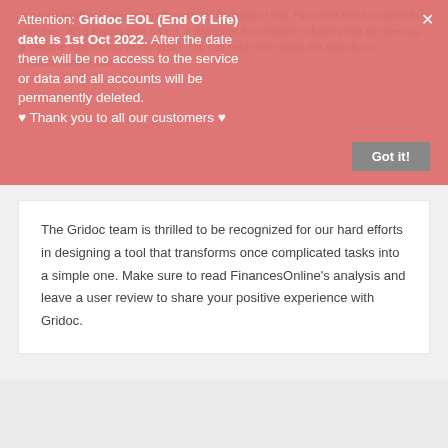our user feedback was generally positive. Because of this, FinancesOnline conferred us with their 2018 Rising Star award, a distinction for software solutions that are seen as a reliable tool for day to day tasks. You can read more about the awards on FinancesOnline.com here.
Attention: Gridoc EOL (End Of Life) date is 1st Oct 2022. After the date there will be no access to the service or data and all accounts will be permanently deleted. ♥ Thank you to all our customers ♥
Got it!
The Gridoc team is thrilled to be recognized for our hard efforts in designing a tool that transforms once complicated tasks into a simple one. Make sure to read FinancesOnline's analysis and leave a user review to share your positive experience with Gridoc.